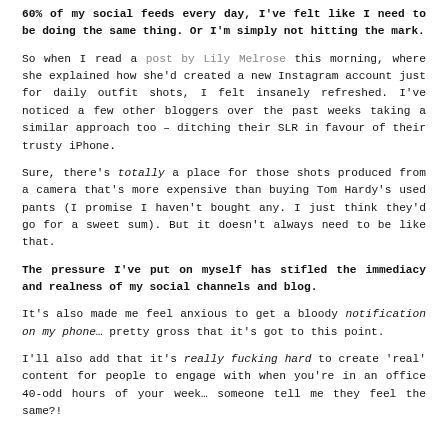60% of my social feeds every day, I've felt like I need to be doing the same thing. Or I'm simply not hitting the mark.
So when I read a post by Lily Melrose this morning, where she explained how she'd created a new Instagram account just for daily outfit shots, I felt insanely refreshed. I've noticed a few other bloggers over the past weeks taking a similar approach too – ditching their SLR in favour of their trusty iPhone.
Sure, there's totally a place for those shots produced from a camera that's more expensive than buying Tom Hardy's used pants (I promise I haven't bought any. I just think they'd go for a sweet sum). But it doesn't always need to be like that.
The pressure I've put on myself has stifled the immediacy and realness of my social channels and blog.
It's also made me feel anxious to get a bloody notification on my phone… pretty gross that it's got to this point.
I'll also add that it's really fucking hard to create 'real' content for people to engage with when you're in an office 40-odd hours of your week… someone tell me they feel the same?!